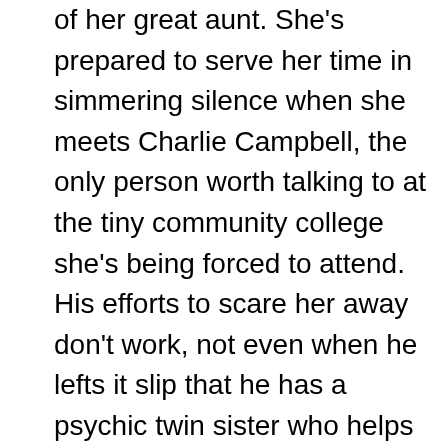of her great aunt. She's prepared to serve her time in simmering silence when she meets Charlie Campbell, the only person worth talking to at the tiny community college she's being forced to attend. His efforts to scare her away don't work, not even when he lefts it slip that he has a psychic twin sister who helps their uncle—a police detective—solve murders. As the former member of a gang, Esmer's confident she's tough enough to take anything he throws at her in stride.

Then she has a near death experience. And Charlie is the first person on the scene. It turns out, his sister isn't psychic but she does have a